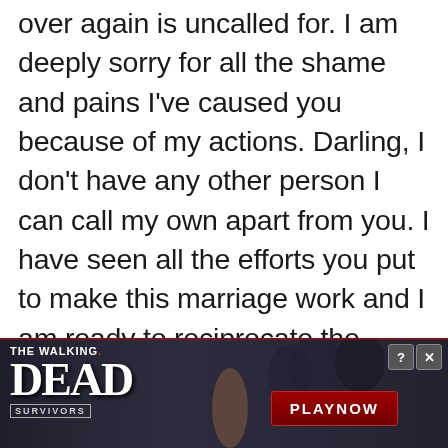over again is uncalled for. I am deeply sorry for all the shame and pains I've caused you because of my actions. Darling, I don't have any other person I can call my own apart from you. I have seen all the efforts you put to make this marriage work and I am ready to reciprocate the same because this is the only marriage we have. Our kids need to be with both parents to enjoy the love, care, and attention of both their father and mother. Please let's reconsider our steps and give peace a
[Figure (screenshot): Advertisement banner for 'The Walking Dead: Survivors' mobile game showing dark zombie imagery with a red 'PLAY NOW' button, close and help buttons in the top right corner.]